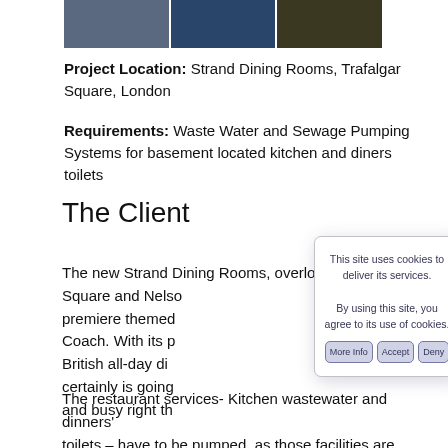[Figure (photo): Three partial photos at the top of the page showing cars/vehicles in blue tones.]
Project Location: Strand Dining Rooms, Trafalgar Square, London
Requirements: Waste Water and Sewage Pumping Systems for basement located kitchen and diners toilets
The Client
The new Strand Dining Rooms, overlooking Trafalgar Square and Nels... premiere themed... Coach. With its p... British all-day di... certainly is going... and busy right th...
[Figure (screenshot): Cookie consent dialog box with text: 'This site uses cookies to deliver its services. By using this site, you agree to its use of cookies.' and buttons: More Info, Accept, Deny]
The restaurant services- Kitchen wastewater and dinners' toilets – have to be pumped, as those facilities are...